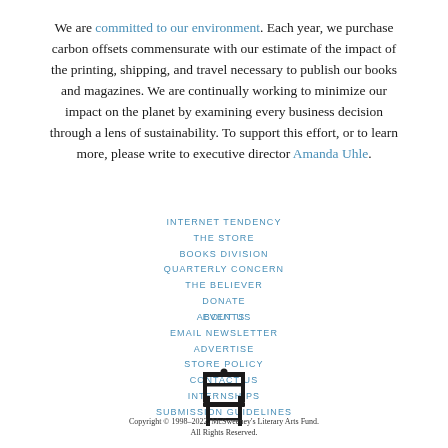We are committed to our environment. Each year, we purchase carbon offsets commensurate with our estimate of the impact of the printing, shipping, and travel necessary to publish our books and magazines. We are continually working to minimize our impact on the planet by examining every business decision through a lens of sustainability. To support this effort, or to learn more, please write to executive director Amanda Uhle.
INTERNET TENDENCY
THE STORE
BOOKS DIVISION
QUARTERLY CONCERN
THE BELIEVER
DONATE
ABOUT US
EVENTS
EMAIL NEWSLETTER
ADVERTISE
STORE POLICY
CONTACT US
INTERNSHIPS
SUBMISSION GUIDELINES
[Figure (logo): Black silhouette of a chair icon (McSweeney's logo)]
Copyright © 1998–2022, McSweeney's Literary Arts Fund. All Rights Reserved.